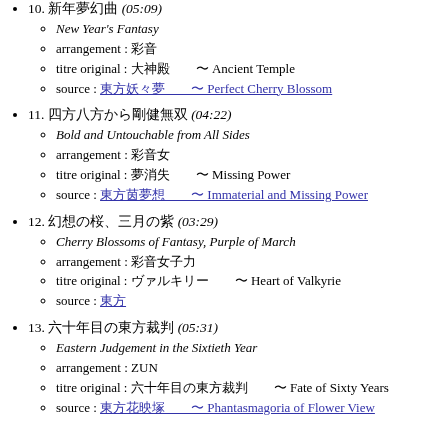10. 新年夢幻曲 (05:09) — New Year's Fantasy — arrangement : 彩音 — titre original : 大神殿　〜 Ancient Temple — source : 東方妖々夢　〜 Perfect Cherry Blossom
11. 四方八方から剛健無双 (04:22) — Bold and Untouchable from All Sides — arrangement : 彩音女 — titre original : 夢消失〜Missing Power — source : 東方萃夢想　〜 Immaterial and Missing Power
12. 幻想の桜、三月の紫 (03:29) — Cherry Blossoms of Fantasy, Purple of March — arrangement : 彩音女子力 — titre original : ヴァルキリー　〜 Heart of Valkyrie — source : 東方
13. 六十年目の東方裁判 (05:31) — Eastern Judgement in the Sixtieth Year — arrangement : ZUN — titre original : 六十年目の東方裁判　〜 Fate of Sixty Years — source : 東方花映塚　〜 Phantasmagoria of Flower View